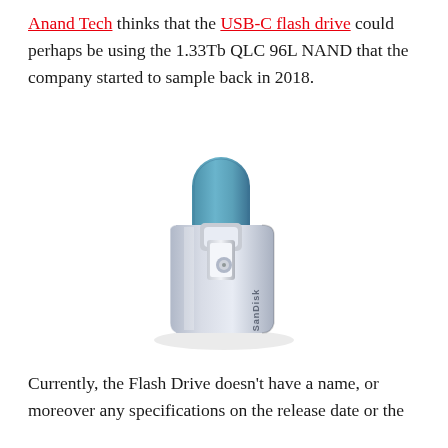Anand Tech thinks that the USB-C flash drive could perhaps be using the 1.33Tb QLC 96L NAND that the company started to sample back in 2018.
[Figure (photo): A SanDisk USB-C flash drive with a teal/blue clip cap and silver metallic body, shown at an angle with the USB-C connector partially extended.]
Currently, the Flash Drive doesn't have a name, or moreover any specifications on the release date or the